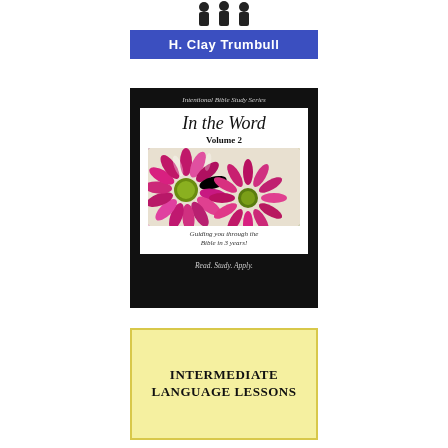[Figure (illustration): Small icons/silhouettes at the top of the page]
H. Clay Trumbull
[Figure (illustration): Book cover for 'In the Word Volume 2' from the Intentional Bible Study Series, featuring purple flowers, with subtitle 'Guiding you through the Bible in 3 years!' and tagline 'Read. Study. Apply.']
[Figure (illustration): Book cover for 'Intermediate Language Lessons' with yellow background and dark border]